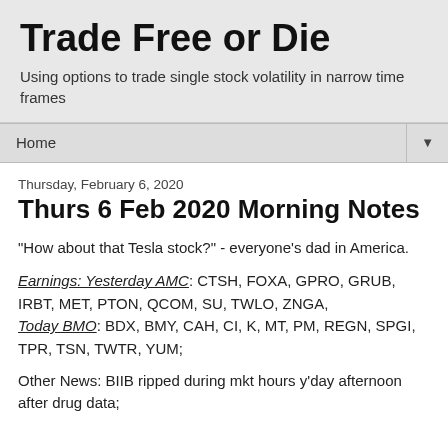Trade Free or Die
Using options to trade single stock volatility in narrow time frames
Home ▼
Thursday, February 6, 2020
Thurs 6 Feb 2020 Morning Notes
"How about that Tesla stock?" - everyone's dad in America.
Earnings: Yesterday AMC: CTSH, FOXA, GPRO, GRUB, IRBT, MET, PTON, QCOM, SU, TWLO, ZNGA, Today BMO: BDX, BMY, CAH, CI, K, MT, PM, REGN, SPGI, TPR, TSN, TWTR, YUM;
Other News: BIIB ripped during mkt hours y'day afternoon after drug data;